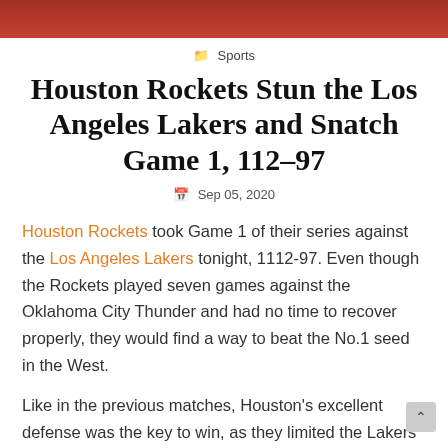[Figure (photo): Partial photo strip at top of page showing a basketball player in red uniform, cropped]
Sports
Houston Rockets Stun the Los Angeles Lakers and Snatch Game 1, 112-97
Sep 05, 2020
Houston Rockets took Game 1 of their series against the Los Angeles Lakers tonight, 1112-97. Even though the Rockets played seven games against the Oklahoma City Thunder and had no time to recover properly, they would find a way to beat the No.1 seed in the West.
Like in the previous matches, Houston's excellent defense was the key to win, as they limited the Lakers to just 18 points in the final period. The